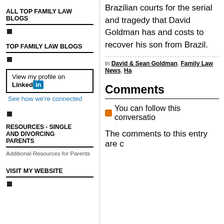ALL TOP FAMILY LAW BLOGS
■
TOP FAMILY LAW BLOGS
■
[Figure (other): LinkedIn profile badge: 'View my profile on LinkedIn' with blue LinkedIn logo, and below 'See how we're connected' link]
■
RESOURCES - SINGLE AND DIVORCING PARENTS
Additional Resources for Parents
VISIT MY WEBSITE
■
Brazilian courts for the serial and tragedy that David Goldman has and costs to recover his son from Brazil.
in David & Sean Goldman, Family Law News, Ha
Comments
You can follow this conversatio
The comments to this entry are c